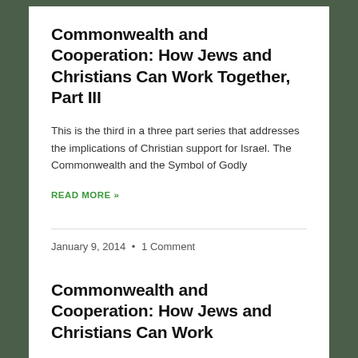Commonwealth and Cooperation: How Jews and Christians Can Work Together, Part III
This is the third in a three part series that addresses the implications of Christian support for Israel. The Commonwealth and the Symbol of Godly
READ MORE »
January 9, 2014  •  1 Comment
Commonwealth and Cooperation: How Jews and Christians Can Work